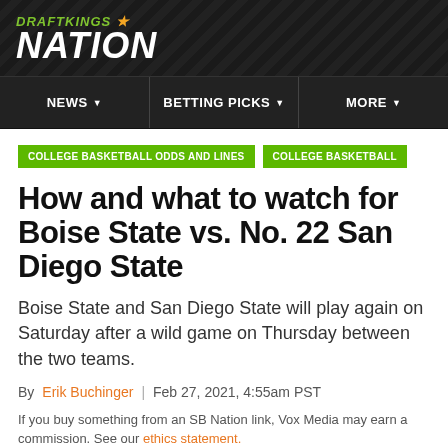[Figure (logo): DraftKings Nation logo with green text and crown icon on dark background]
NEWS | BETTING PICKS | MORE
COLLEGE BASKETBALL ODDS AND LINES   COLLEGE BASKETBALL
How and what to watch for Boise State vs. No. 22 San Diego State
Boise State and San Diego State will play again on Saturday after a wild game on Thursday between the two teams.
By Erik Buchinger | Feb 27, 2021, 4:55am PST
If you buy something from an SB Nation link, Vox Media may earn a commission. See our ethics statement.